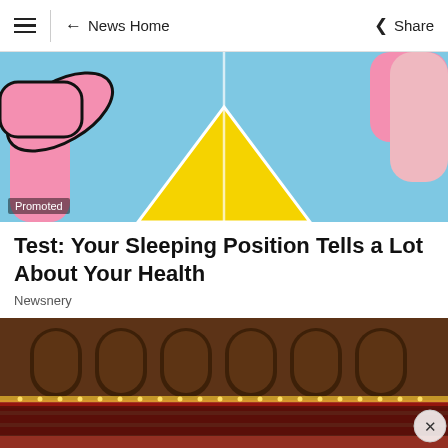← News Home   Share
[Figure (illustration): Promoted ad image: colorful pop-art style illustration with blue background, pink arm shapes, and a yellow triangle shape in the center. 'Promoted' label in bottom left.]
Test: Your Sleeping Position Tells a Lot About Your Health
Newsnery
[Figure (photo): Photo of an ornate legislative chamber/parliament hall with arched wooden balconies, rows of seats, and bright lighting along the front. A close button (X) appears in the bottom right.]
Ad